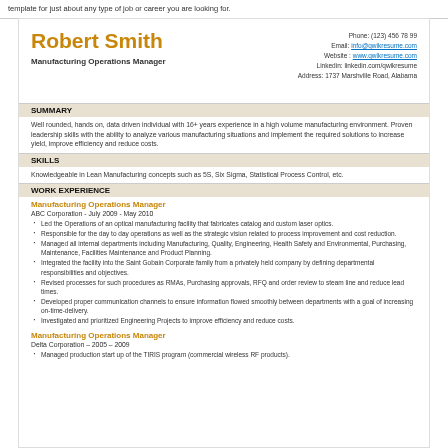template for just about any type of job or career you are looking for.
Robert Smith
Manufacturing Operations Manager
Phone: (123) 456 78 99
Email: info@qwikresume.com
Website: www.qwikresume.com
Linkedin: linkedin.com/qwikresume
Address: 1737 Marshville Road, Alabama
SUMMARY
Well rounded, hands on, data driven individual with 16+ years experience in a high volume manufacturing environment. Proven leadership skills with the ability to analyze various manufacturing situations and implement the required solutions to increase yield, improve efficiency and reduce costs.
SKILLS
Knowledgeable in Lean Manufacturing concepts such as 5S, Six Sigma, Statistical Process Control, etc.
WORK EXPERIENCE
Manufacturing Operations Manager
ABC Corporation - July 2009 - May 2010
Led the Operations of an optical manufacturing facility that fabricates catalog and custom laser optics.
Responsible for the day to day operations as well as the strategic vision related to process improvement and cost reduction.
Managed all internal departments including Manufacturing, Quality, Engineering, Health Safety and Environmental, Purchasing, Maintenance, Facilities Maintenance and Product Planning.
Integrated the facility into the Saint Gobain Corporate family from a privately held company by defining departmental responsibilities and objectives.
Revised processes for such procedures as RMAs, Purchasing approvals, RFQ and order review to steam line and reduce lead times.
Developed proper communication channels to ensure information flowed smoothly between departments with a goal of increasing on-time-delivery.
Investigated and prioritized Engineering Projects to improve efficiency and reduce costs.
Manufacturing Operations Manager
Delta Corporation – 2005 – 2009
Managed production start up of the TIRIS program (commercial wireless RF products).